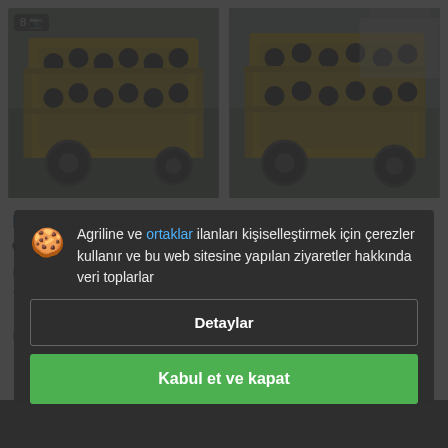[Figure (photo): Two photos of a yellow BEDNAR 6000 disc cultivator agricultural machine shown side by side. Left photo has a badge showing '8' and a camera icon.]
BEDNAR 6000
€69,950.42  TRY
Diskli tırmık
Yıl...
Dahil...
[Figure (screenshot): Cookie consent dialog overlay on a dark semi-transparent background. Contains a cookie emoji icon, text in Turkish: 'Agriline ve ortaklar ilanları kişiselleştirmek için çerezler kullanır ve bu web sitesine yapılan ziyaretler hakkında veri toplarlar'. Has two buttons: 'Detaylar' and 'Kabul et ve kapat'.]
Agriline ve ortaklar ilanları kişiselleştirmek için çerezler kullanır ve bu web sitesine yapılan ziyaretler hakkında veri toplarlar
Detaylar
Kabul et ve kapat